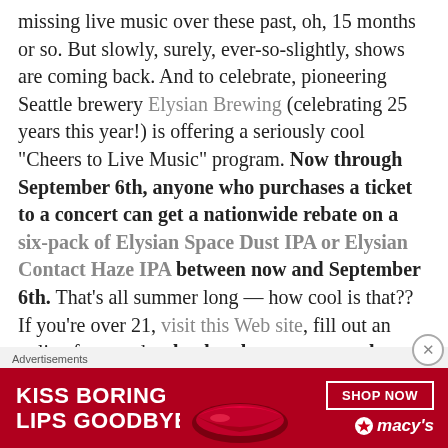missing live music over these past, oh, 15 months or so. But slowly, surely, ever-so-slightly, shows are coming back. And to celebrate, pioneering Seattle brewery Elysian Brewing (celebrating 25 years this year!) is offering a seriously cool “Cheers to Live Music” program. Now through September 6th, anyone who purchases a ticket to a concert can get a nationwide rebate on a six-pack of Elysian Space Dust IPA or Elysian Contact Haze IPA between now and September 6th. That’s all summer long — how cool is that?? If you’re over 21, visit this Web site, fill out an online form and upload a photo or screenshot of your concert purchase receipt,
[Figure (other): Advertisement banner for Macy's: 'Kiss Boring Lips Goodbye' with Shop Now button and Macy's logo with star]